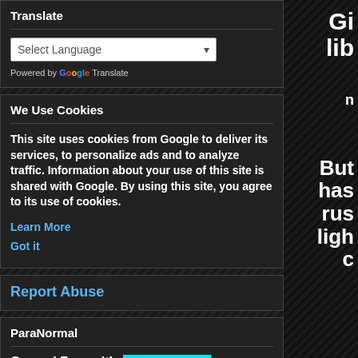Translate
[Figure (screenshot): Google Translate widget with 'Select Language' dropdown]
Powered by Google Translate
We Use Cookies
This site uses cookies from Google to deliver its services, to personalize ads and to analyze traffic. Information about your use of this site is shared with Google. By using this site, you agree to its use of cookies.
Learn More
Got it
Report Abuse
ParaNormal
Ground Zero with
Gi
lib
n
But
has
rus
ligh
c